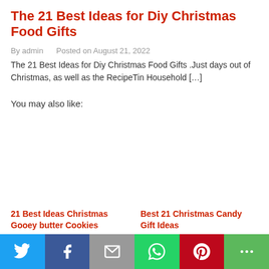The 21 Best Ideas for Diy Christmas Food Gifts
By admin   Posted on August 21, 2022
The 21 Best Ideas for Diy Christmas Food Gifts .Just days out of Christmas, as well as the RecipeTin Household […]
You may also like:
21 Best Ideas Christmas Gooey butter Cookies
Best 21 Christmas Candy Gift Ideas
Twitter | Facebook | Email | WhatsApp | Pinterest | More